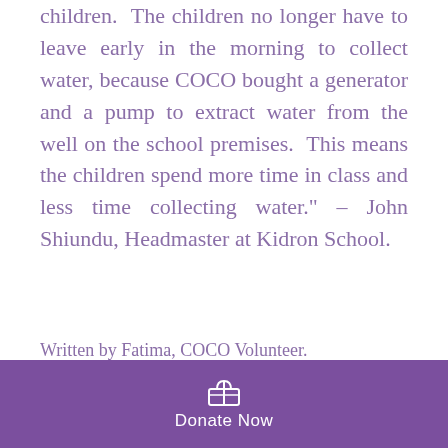children. The children no longer have to leave early in the morning to collect water, because COCO bought a generator and a pump to extract water from the well on the school premises. This means the children spend more time in class and less time collecting water." – John Shiundu, Headmaster at Kidron School.
Written by Fatima, COCO Volunteer.
Projects • Throwback • Uganda
[Figure (infographic): Social share icons: Facebook, Twitter, LinkedIn, link/clip icon]
[Figure (infographic): Stats bar with eye/views icon showing 0, comment icon, and heart/like icon on the right]
[Figure (infographic): Purple donate bar at bottom with gift icon and 'Donate Now' text]